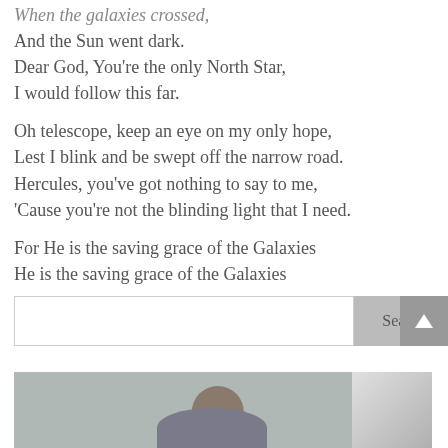When the galaxies crossed,
And the Sun went dark.
Dear God, You're the only North Star,
I would follow this far.
Oh telescope, keep an eye on my only hope,
Lest I blink and be swept off the narrow road.
Hercules, you've got nothing to say to me,
'Cause you're not the blinding light that I need.
For He is the saving grace of the Galaxies
He is the saving grace of the Galaxies
[Figure (photo): Partial view of a person's head and shoulders in a grey-toned indoor setting with a bright light in the background]